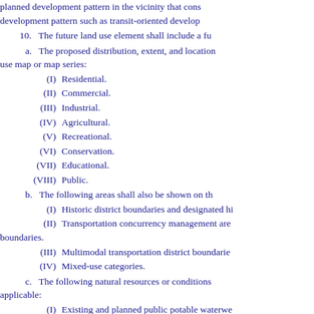planned development pattern in the vicinity that cons development pattern such as transit-oriented develop
10. The future land use element shall include a fu
a. The proposed distribution, extent, and location use map or map series:
(I) Residential.
(II) Commercial.
(III) Industrial.
(IV) Agricultural.
(V) Recreational.
(VI) Conservation.
(VII) Educational.
(VIII) Public.
b. The following areas shall also be shown on th
(I) Historic district boundaries and designated hi
(II) Transportation concurrency management are boundaries.
(III) Multimodal transportation district boundarie
(IV) Mixed-use categories.
c. The following natural resources or conditions applicable:
(I) Existing and planned public potable waterwe
(II) Beaches and shores, including estuarine syst